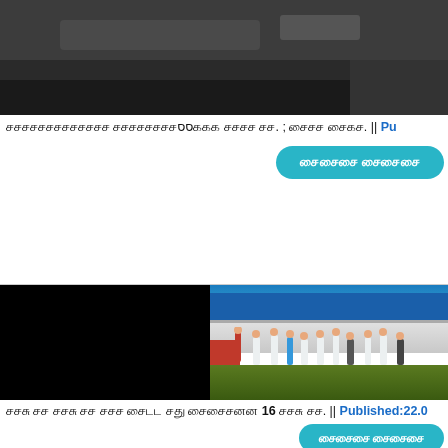[Figure (photo): Dark/gray blurry image at top of page, partially visible]
சசசசசசசசசசசசசச சசசசசசசசசசசசச சசசசசசச சசசச சச. ; சசசச சடடச. || Pu
[Figure (photo): Button with cyan/teal background and white text in Tamil script]
[Figure (photo): Split image: left half black, right half shows people near a train with blue background and green ground]
சச சச சசச சச சசச சடடட சத சசசசசான 16 சச சச. || Published:22.0
[Figure (photo): Cyan/teal button at bottom right with Tamil text]